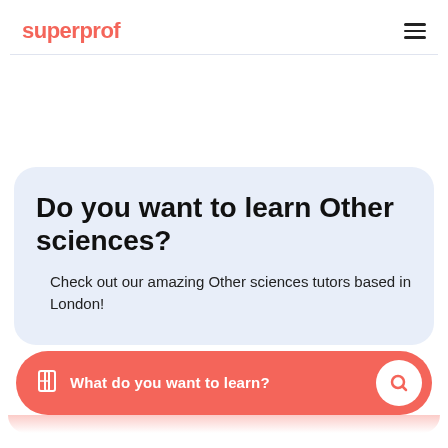superprof
Do you want to learn Other sciences?
Check out our amazing Other sciences tutors based in London!
What do you want to learn?